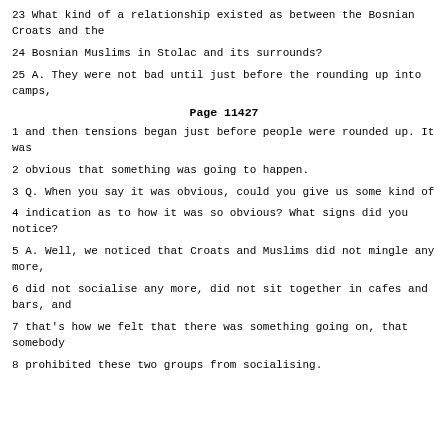23 What kind of a relationship existed as between the Bosnian Croats and the
24 Bosnian Muslims in Stolac and its surrounds?
25 A. They were not bad until just before the rounding up into camps,
Page 11427
1 and then tensions began just before people were rounded up. It was
2 obvious that something was going to happen.
3 Q. When you say it was obvious, could you give us some kind of
4 indication as to how it was so obvious? What signs did you notice?
5 A. Well, we noticed that Croats and Muslims did not mingle any more,
6 did not socialise any more, did not sit together in cafes and bars, and
7 that's how we felt that there was something going on, that somebody
8 prohibited these two groups from socialising.